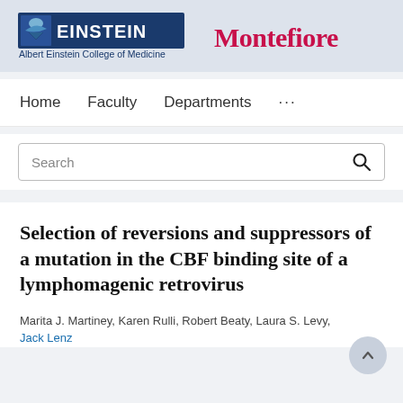[Figure (logo): Einstein (Albert Einstein College of Medicine) and Montefiore institutional logos in the header banner]
Home   Faculty   Departments   ...
Search
Selection of reversions and suppressors of a mutation in the CBF binding site of a lymphomagenic retrovirus
Marita J. Martiney, Karen Rulli, Robert Beaty, Laura S. Levy, Jack Lenz